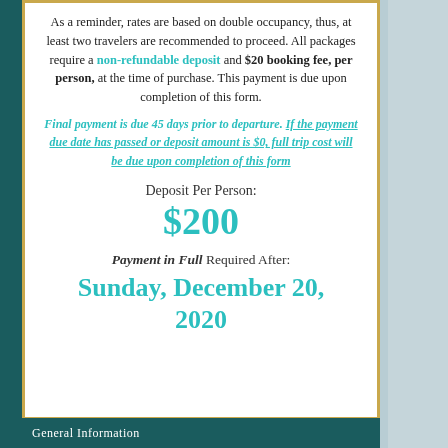As a reminder, rates are based on double occupancy, thus, at least two travelers are recommended to proceed. All packages require a non-refundable deposit and $20 booking fee, per person, at the time of purchase. This payment is due upon completion of this form.
Final payment is due 45 days prior to departure. If the payment due date has passed or deposit amount is $0, full trip cost will be due upon completion of this form
Deposit Per Person:
$200
Payment in Full Required After:
Sunday, December 20, 2020
General Information